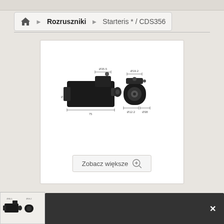Rozruszniki > Starteris * / CDS356
[Figure (engineering-diagram): Technical diagram of a starter motor (Rozrusznik/Starteris CDS356) shown from two angles — front/side view and rear view — with dimensional annotations indicating measurements.]
Zobacz większe
[Figure (engineering-diagram): Thumbnail strip showing partial view of the starter motor diagram at the bottom of the page, partially obscured by a dark overlay panel.]